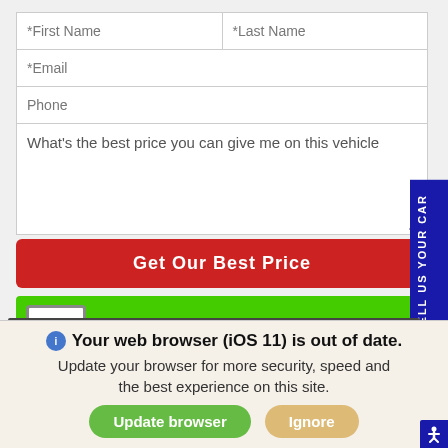[Figure (screenshot): Web form with First Name, Last Name, Email, Phone fields and a textarea asking 'What's the best price you can give me on this vehicle', with a red 'Get Our Best Price' button, a green 'Save time... CLICK HERE' banner, a dark navigation bar, and a browser update warning overlay at the bottom saying 'Your web browser (iOS 11) is out of date. Update your browser for more security, speed and the best experience on this site.' with Update browser and Ignore buttons.]